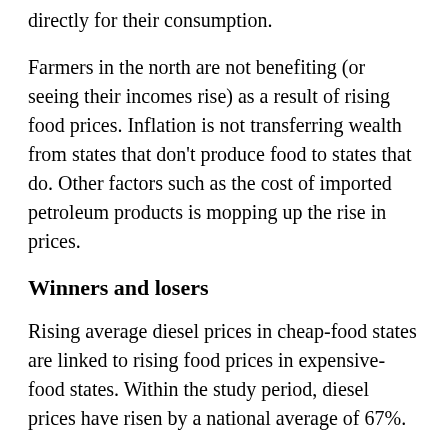directly for their consumption.
Farmers in the north are not benefiting (or seeing their incomes rise) as a result of rising food prices. Inflation is not transferring wealth from states that don't produce food to states that do. Other factors such as the cost of imported petroleum products is mopping up the rise in prices.
Winners and losers
Rising average diesel prices in cheap-food states are linked to rising food prices in expensive-food states. Within the study period, diesel prices have risen by a national average of 67%.
Regionally, food items are usually transported on diesel-powered vehicles rather than petrol-powered vehicles. Since vehicles transporting food items